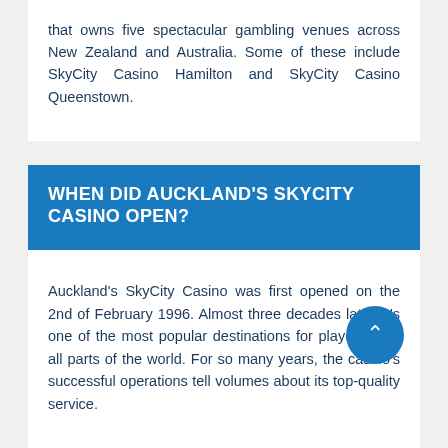that owns five spectacular gambling venues across New Zealand and Australia. Some of these include SkyCity Casino Hamilton and SkyCity Casino Queenstown.
WHEN DID AUCKLAND'S SKYCITY CASINO OPEN?
Auckland's SkyCity Casino was first opened on the 2nd of February 1996. Almost three decades later, it's one of the most popular destinations for players from all parts of the world. For so many years, the casino's successful operations tell volumes about its top-quality service.
IS THERE ANY DRESS CODE FOR SKYCITY CASINO AUCKLAND?
SkyCity Casino Auckland offers an elite environment, so a